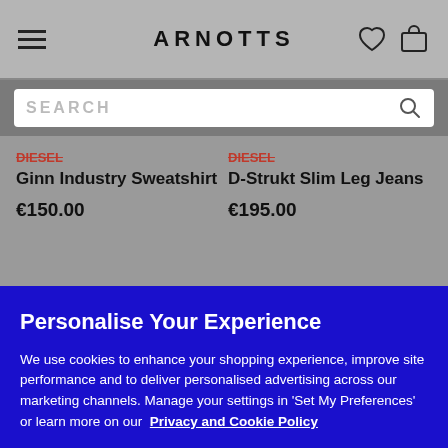ARNOTTS
SEARCH
Ginn Industry Sweatshirt €150.00
D-Strukt Slim Leg Jeans €195.00
Personalise Your Experience
We use cookies to enhance your shopping experience, improve site performance and to deliver personalised advertising across our marketing channels. Manage your settings in 'Set My Preferences' or learn more on our Privacy and Cookie Policy
Set My Preferences
Allow All